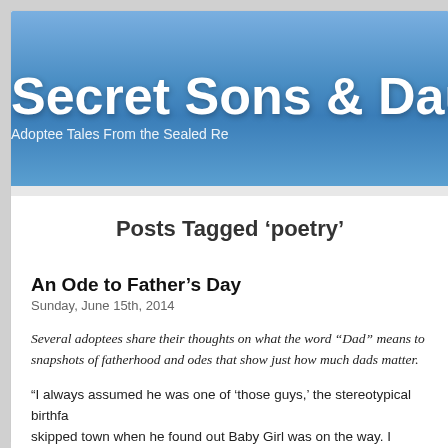Secret Sons & Dau...
Adoptee Tales From the Sealed Re...
Posts Tagged ‘poetry’
An Ode to Father’s Day
Sunday, June 15th, 2014
Several adoptees share their thoughts on what the word “Dad” means to... snapshots of fatherhood and odes that show just how much dads matter.
“I always assumed he was one of ‘those guys,’ the stereotypical birthfa... skipped town when he found out Baby Girl was on the way. I couldn’t h...